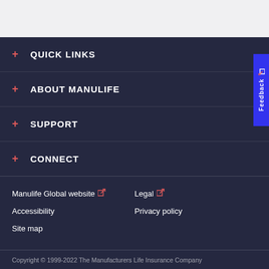+ QUICK LINKS
+ ABOUT MANULIFE
+ SUPPORT
+ CONNECT
Manulife Global website ↗
Legal ↗
Accessibility
Privacy policy
Site map
Copyright © 1999-2022 The Manufacturers Life Insurance Company